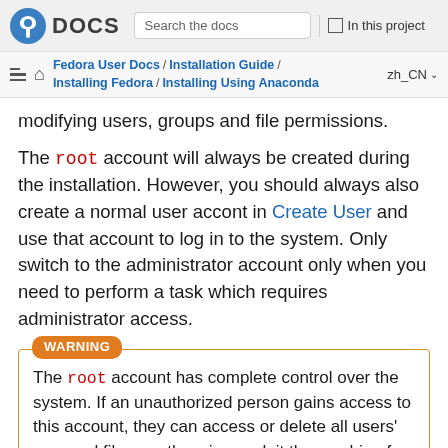Fedora DOCS — Search the docs — In this project
Fedora User Docs / Installation Guide / Installing Fedora / Installing Using Anaconda — zh_CN
modifying users, groups and file permissions.
The root account will always be created during the installation. However, you should always also create a normal user accont in Create User and use that account to log in to the system. Only switch to the administrator account only when you need to perform a task which requires administrator access.
WARNING
The root account has complete control over the system. If an unauthorized person gains access to this account, they can access or delete all users' personal files or otherwise exploit the machine for